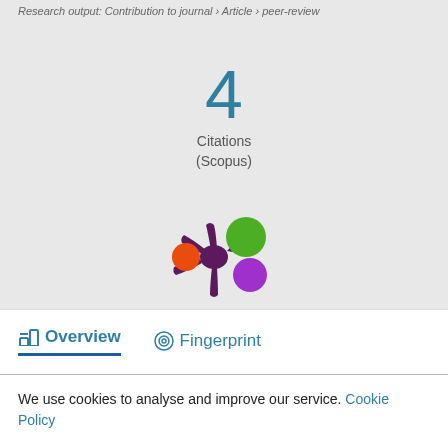Research output: Contribution to journal › Article › peer-review
4
Citations
(Scopus)
[Figure (logo): Altmetric logo — a colorful splash/asterisk shape with orange, green, and purple circles]
Overview   Fingerprint
We use cookies to analyse and improve our service. Cookie Policy